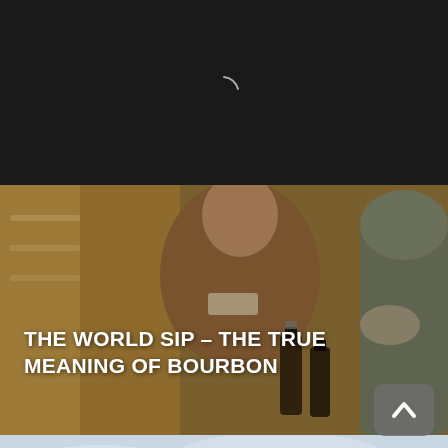[Figure (screenshot): Dark top bar area with a loading spinner arc icon centered, dark gray/black background]
[Figure (photo): Photo of a man in a brown fleece pullover with a name tag, appearing to be a bourbon distillery guide, gesturing to another person across a counter with bourbon bottles visible]
THE WORLD SIP – THE TRUE MEANING OF BOURBON
[Figure (photo): Outdoor photo with overcast sky, featuring large bold black-and-white KENTUCKY logo/sign, with people in foreground raising hands pointing upward]
[Figure (other): Scroll-to-top button (upward chevron arrow) in gray rounded rectangle, bottom right corner]